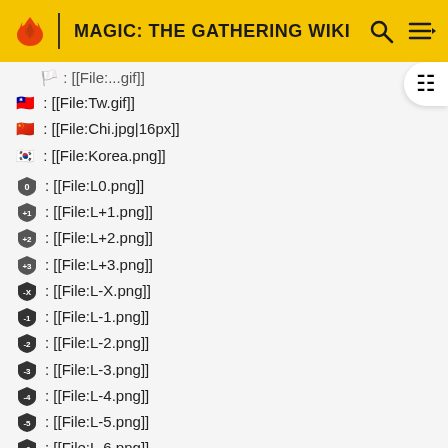MAGIC: THE GATHERING WIKI
🇹🇼 : [[File:Tw.gif]]
🇨🇳 : [[File:Chi.jpg|16px]]
🇰🇷 : [[File:Korea.png]]
🛡0 : [[File:L0.png]]
🛡+1 : [[File:L+1.png]]
🛡+2 : [[File:L+2.png]]
🛡+3 : [[File:L+3.png]]
🛡X : [[File:L-X.png]]
🛡-1 : [[File:L-1.png]]
🛡-2 : [[File:L-2.png]]
🛡-3 : [[File:L-3.png]]
🛡-4 : [[File:L-4.png]]
🛡-5 : [[File:L-5.png]]
🛡-6 : [[File:L-6.png]]